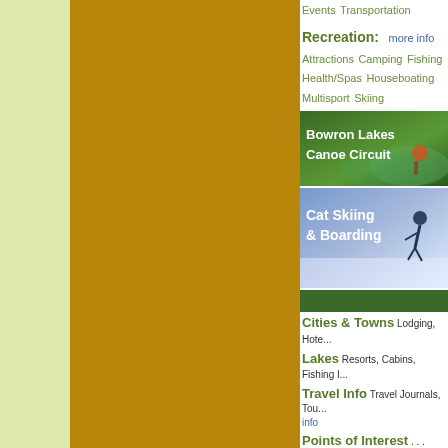Events
Transportation
Recreation:  more info
Attractions
Camping
Fishing
Health/Spas
Houseboating
Multisport
Skiing
[Figure (photo): Bowron Lakes Canoe Circuit banner with green landscape and paddler]
[Figure (photo): Cat Skiing & Boarding banner with blue sky and skier]
[Figure (other): Green navigation bar]
Cities & Towns Lodging, Hote...
Lakes Resorts, Cabins, Fishing I...
Travel Info Travel Journals, Tou... more info
Points of Interest . . . more info
Provincial Parks . . . more info